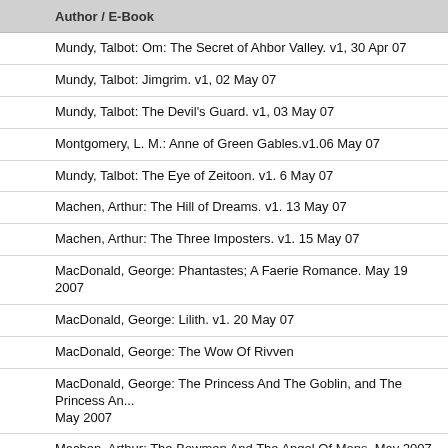Author / E-Book
Mundy, Talbot: Om: The Secret of Ahbor Valley. v1, 30 Apr 07
Mundy, Talbot: Jimgrim. v1, 02 May 07
Mundy, Talbot: The Devil's Guard. v1, 03 May 07
Montgomery, L. M.: Anne of Green Gables.v1.06 May 07
Mundy, Talbot: The Eye of Zeitoon. v1. 6 May 07
Machen, Arthur: The Hill of Dreams. v1. 13 May 07
Machen, Arthur: The Three Imposters. v1. 15 May 07
MacDonald, George: Phantastes; A Faerie Romance. May 19 2007
MacDonald, George: Lilith. v1. 20 May 07
MacDonald, George: The Wow Of Rivven
MacDonald, George: The Princess And The Goblin, and The Princess An... May 2007
Machen, Arthur: The Bowmen And The Angel Of Mons. May 2007
Mundy, Talbot: King of The Khyber Rifles: May 2007